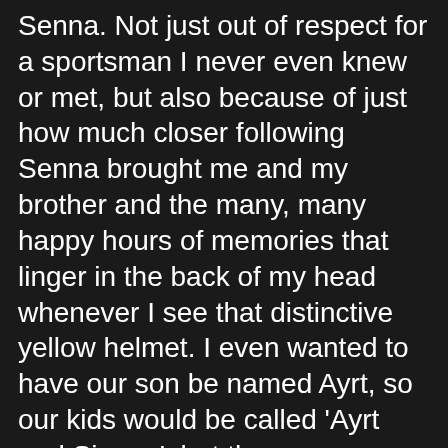Senna. Not just out of respect for a sportsman I never even knew or met, but also because of just how much closer following Senna brought me and my brother and the many, many happy hours of memories that linger in the back of my head whenever I see that distinctive yellow helmet. I even wanted to have our son be named Ayrt, so our kids would be called 'Ayrt and Sienna', but the name proved unpopular.
Many people still speculate to this day on just how Senna died with some not